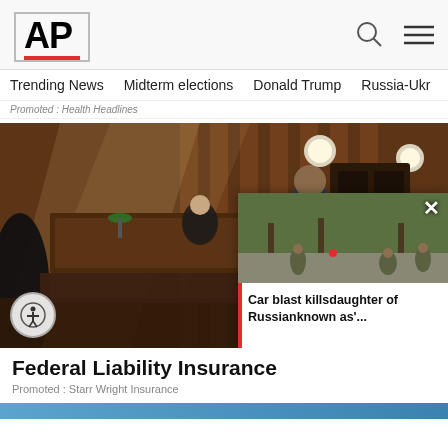AP
Trending News   Midterm elections   Donald Trump   Russia-Ukr
Promoted : Health Headlines
[Figure (photo): Courtroom scene with judge, attorney presenting arguments, and observers]
[Figure (photo): Popup overlay image showing military personnel on a street]
Federal Liability Insurance
Promoted : Starr Wright Insurance
Car blast killsdaughter of Russianknown as'...